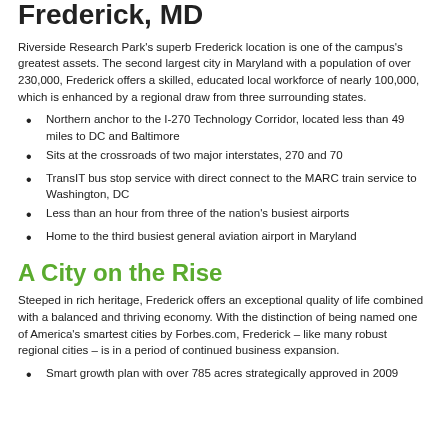Frederick, MD
Riverside Research Park's superb Frederick location is one of the campus's greatest assets. The second largest city in Maryland with a population of over 230,000, Frederick offers a skilled, educated local workforce of nearly 100,000, which is enhanced by a regional draw from three surrounding states.
Northern anchor to the I-270 Technology Corridor, located less than 49 miles to DC and Baltimore
Sits at the crossroads of two major interstates, 270 and 70
TransIT bus stop service with direct connect to the MARC train service to Washington, DC
Less than an hour from three of the nation's busiest airports
Home to the third busiest general aviation airport in Maryland
A City on the Rise
Steeped in rich heritage, Frederick offers an exceptional quality of life combined with a balanced and thriving economy. With the distinction of being named one of America's smartest cities by Forbes.com, Frederick – like many robust regional cities – is in a period of continued business expansion.
Smart growth plan with over 785 acres strategically approved in 2009...